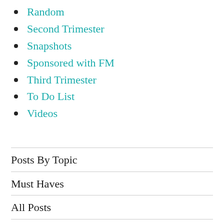Random
Second Trimester
Snapshots
Sponsored with FM
Third Trimester
To Do List
Videos
Posts By Topic
Must Haves
All Posts
Week By Week